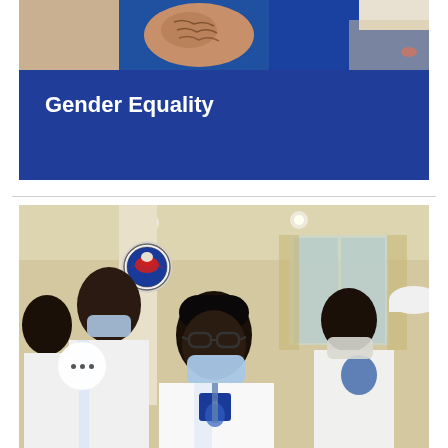[Figure (photo): Top partial photo showing people, one with a tattoo visible on arm, wearing blue clothing]
Gender Equality
[Figure (photo): Group photo of young people wearing white lab coats/uniforms with blue logos and face masks in an indoor setting with a circular eagle emblem visible on the wall. A three-dot menu button overlay appears in the bottom left corner.]